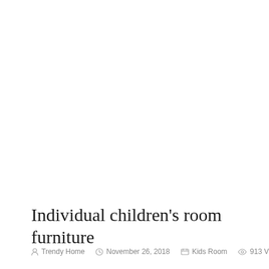Individual children's room furniture
Trendy Home  November 26, 2018  Kids Room  913 Views